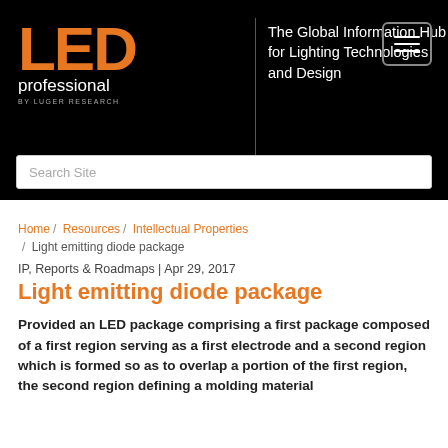[Figure (logo): LED professional logo with orange LED text, white 'professional' text, and 'BY LUGER RESEARCH' byline on black background, with tagline 'The Global Information Hub for Lighting Technologies and Design' and a hamburger menu button]
Search Site
Home / Resources / Intellectual Properties / Light emitting diode package
IP, Reports & Roadmaps | Apr 29, 2017
Light emitting diode package
Provided an LED package comprising a first package composed of a first region serving as a first electrode and a second region which is formed so as to overlap a portion of the first region, the second region defining a molding material